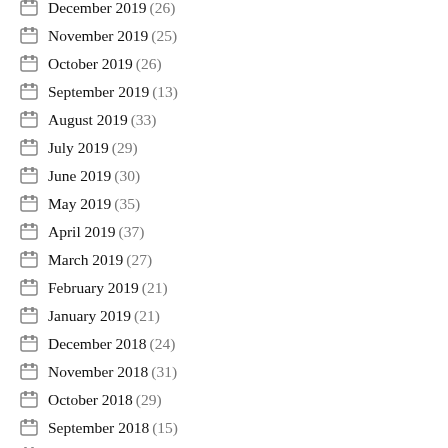December 2019 (26)
November 2019 (25)
October 2019 (26)
September 2019 (13)
August 2019 (33)
July 2019 (29)
June 2019 (30)
May 2019 (35)
April 2019 (37)
March 2019 (27)
February 2019 (21)
January 2019 (21)
December 2018 (24)
November 2018 (31)
October 2018 (29)
September 2018 (15)
August 2018 (24)
July 2018 (23)